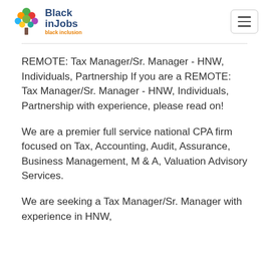[Figure (logo): BlackinJobs logo with a colorful tree icon and text 'Black inJobs' in dark blue and 'black inclusion' tagline in orange]
REMOTE: Tax Manager/Sr. Manager - HNW, Individuals, Partnership If you are a REMOTE: Tax Manager/Sr. Manager - HNW, Individuals, Partnership with experience, please read on!
We are a premier full service national CPA firm focused on Tax, Accounting, Audit, Assurance, Business Management, M & A, Valuation Advisory Services.
We are seeking a Tax Manager/Sr. Manager with experience in HNW,